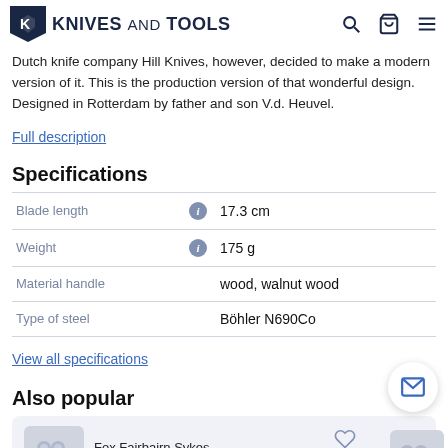Knives and Tools
Dutch knife company Hill Knives, however, decided to make a modern version of it. This is the production version of that wonderful design. Designed in Rotterdam by father and son V.d. Heuvel.
Full description
Specifications
| Property |  | Value |
| --- | --- | --- |
| Blade length | i | 17.3 cm |
| Weight | i | 175 g |
| Material handle |  | wood, walnut wood |
| Type of steel |  | Böhler N690Co |
View all specifications
Also popular
Fox Fairbairn Sykes